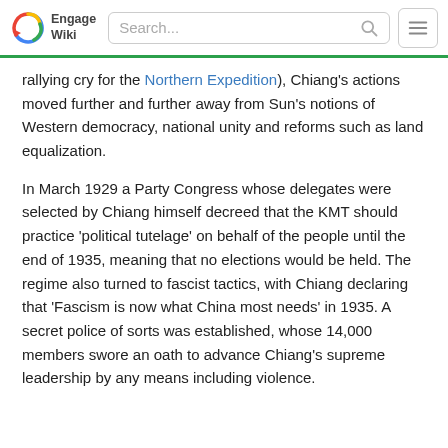Engage Wiki
rallying cry for the Northern Expedition), Chiang's actions moved further and further away from Sun's notions of Western democracy, national unity and reforms such as land equalization.
In March 1929 a Party Congress whose delegates were selected by Chiang himself decreed that the KMT should practice ‘political tutelage’ on behalf of the people until the end of 1935, meaning that no elections would be held. The regime also turned to fascist tactics, with Chiang declaring that ‘Fascism is now what China most needs’ in 1935. A secret police of sorts was established, whose 14,000 members swore an oath to advance Chiang’s supreme leadership by any means including violence.